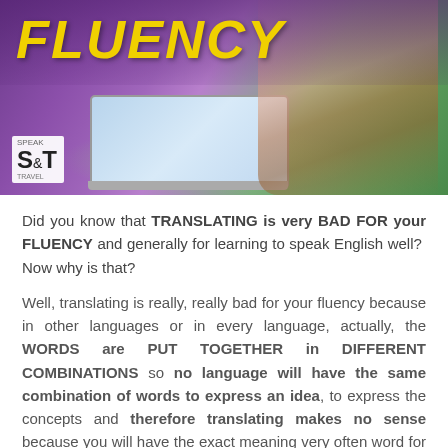[Figure (photo): Hero image showing a woman with long dark hair in a pink/magenta top working on a laptop outdoors, with a purple and green bokeh background. Yellow italic bold text 'FLUENCY' overlaid in top-left. S&T logo in bottom-left corner.]
Did you know that TRANSLATING is very BAD FOR your FLUENCY and generally for learning to speak English well?  Now why is that?
Well, translating is really, really bad for your fluency because in other languages or in every language, actually, the WORDS are PUT TOGETHER in DIFFERENT COMBINATIONS so no language will have the same combination of words to express an idea, to express the concepts and therefore translating makes no sense because you will have the exact meaning very often word for word but when you want to reuse